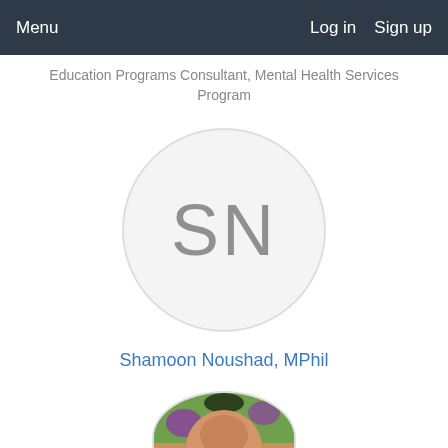Menu   Log in   Sign up
Education Programs Consultant, Mental Health Services Program
[Figure (illustration): Avatar circle with initials SN in gray on light gray background]
Shamoon Noushad, MPhil
[Figure (photo): Partial photo of a person outdoors with green and purple foliage background, cropped at bottom of page]